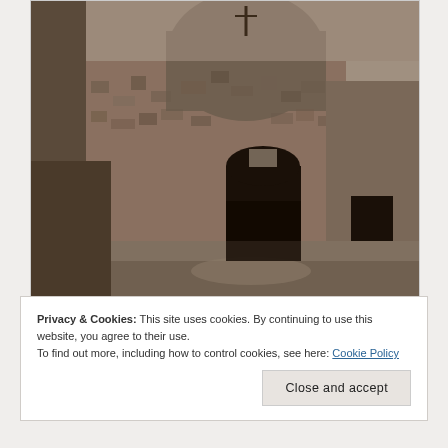[Figure (photo): Sepia-toned photograph of an ancient stone building, likely a medieval Irish chapel or monastery, with a rounded tower top, arched doorway, and rough stone walls. Taken from outside at ground level, showing the entrance and surrounding stone enclosure walls under an overcast sky.]
Privacy & Cookies: This site uses cookies. By continuing to use this website, you agree to their use.
To find out more, including how to control cookies, see here: Cookie Policy
Close and accept